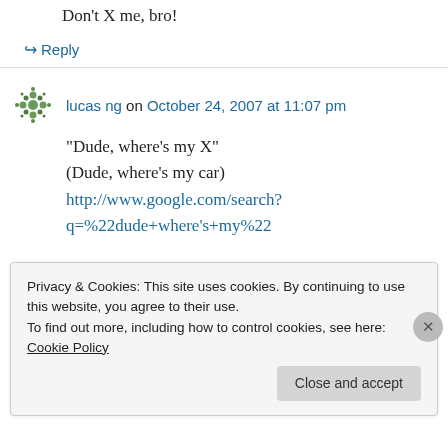Don't X me, bro!
↪ Reply
lucas ng on October 24, 2007 at 11:07 pm
"Dude, where's my X"
(Dude, where's my car)
http://www.google.com/search?q=%22dude+where's+my%22
Privacy & Cookies: This site uses cookies. By continuing to use this website, you agree to their use.
To find out more, including how to control cookies, see here: Cookie Policy
Close and accept